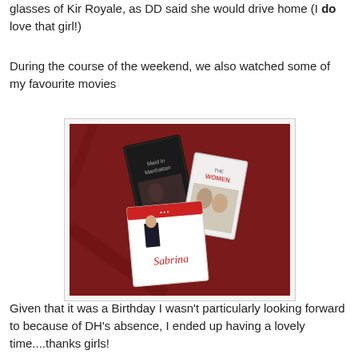glasses of Kir Royale, as DD said she would drive home (I do love that girl!)
During the course of the weekend, we also watched some of my favourite movies
[Figure (photo): Three DVD/VHS movie cases laid on a red surface. The movies appear to include titles such as a romantic drama, 'The Women', and what appears to be 'Sabrina'.]
Given that it was a Birthday I wasn't particularly looking forward to because of DH's absence, I ended up having a lovely time....thanks girls!